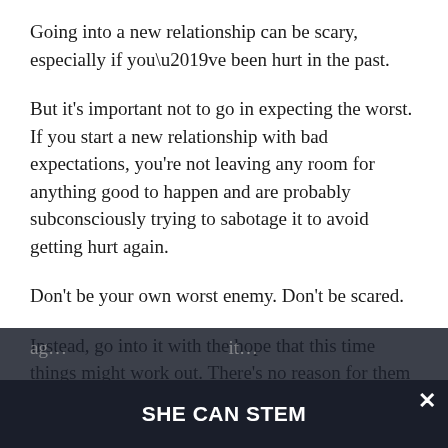Going into a new relationship can be scary, especially if you’ve been hurt in the past.
But it’s important not to go in expecting the worst. If you start a new relationship with bad expectations, you’re not leaving any room for anything good to happen and are probably subconsciously trying to sabotage it to avoid getting hurt again.
Don’t be your own worst enemy. Don’t be scared.
Instead, go into it with the hope that this time things might work out. There’s no reason for them not to.
Believe me, I know how hard it is to fall in love and to trust again... but...
SHE CAN STEM